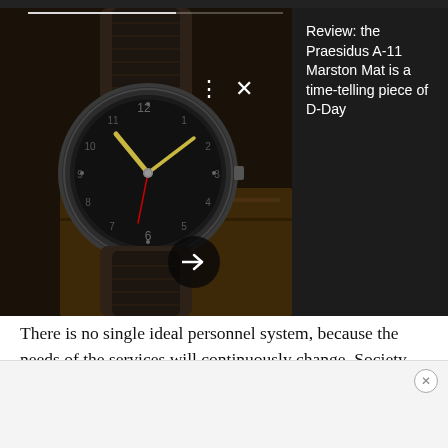[Figure (screenshot): A dark-themed notification card showing a close-up photo of a vintage military watch (Praesidus A-11 Marston Mat) with a dark dial, luminous hands, and a worn leather strap. The card has a progress bar at the top, a three-dot menu and X close button overlaid on the image, a circular arrow/next button at the bottom left of the image, and a text panel on the right side reading 'Review: the Praesidus A-11 Marston Mat is a time-telling piece of D-Day'.]
There is no single ideal personnel system, because the needs of the services will continuously change. Society and demographics continuously change. Because our personnel system's two most salient stakeholders are always changing and always in competition, the system must continuously evolve to simply be adequate.
[Figure (other): Advertisement banner area with a close (X) button in the top-right corner, light gray background.]